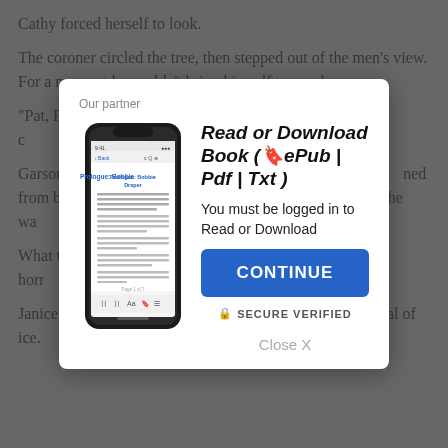Cathy forced herself to look.
The coroner circled the tree, then stepped out of the men's view. For a moment he couldn't bring himself to speak.
"Pat, Pa... [obscured by modal] ...clump c... ...ve them at the g...
Garson ... ...e tree seemed... ...ned from be... ...ended fear. So... ...own. She wa... ...rted slopes, ... ...n envelop...
What th... ...le. But the horr... ...ed, by the sight.
Janice's head dropped from the tree and bounced on a shoal of ice.
[Figure (screenshot): Modal dialog overlay on a book reading website. Contains 'Our partner' label, a phone illustration showing a book page, title 'Read or Download Book (🔖ePub | Pdf | Txt)', subtitle 'You must be logged in to Read or Download', a blue CONTINUE button, SECURE VERIFIED text, and Close X link.]